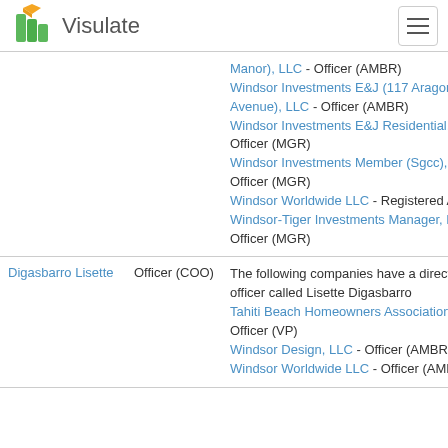Visulate
| Name | Role | Companies |
| --- | --- | --- |
|  |  | Manor), LLC - Officer (AMBR)
Windsor Investments E&J (117 Aragon Avenue), LLC - Officer (AMBR)
Windsor Investments E&J Residential, LLC - Officer (MGR)
Windsor Investments Member (Sgcc), LLC - Officer (MGR)
Windsor Worldwide LLC - Registered Agent
Windsor-Tiger Investments Manager, LLC - Officer (MGR) |
| Digasbarro Lisette | Officer (COO) | The following companies have a director or officer called Lisette Digasbarro
Tahiti Beach Homeowners Association, Inc. - Officer (VP)
Windsor Design, LLC - Officer (AMBR)
Windsor Worldwide LLC - Officer (AMBR) |